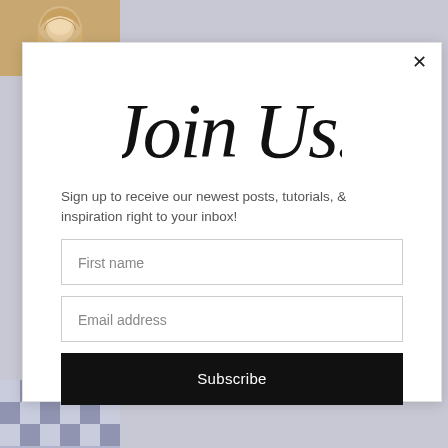[Figure (photo): Profile photo of a woman with long blonde hair at top left corner]
[Figure (illustration): Decorative checkerboard/mosaic pattern in lavender and grey at bottom left corner]
[Figure (other): Modal popup overlay with white background and close X button]
Join Us.
Sign up to receive our newest posts, tutorials, & inspiration right to your inbox!
First name
Email address
Subscribe